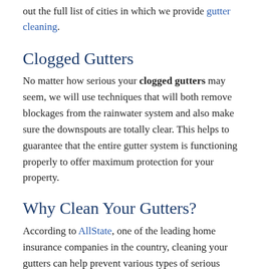out the full list of cities in which we provide gutter cleaning.
Clogged Gutters
No matter how serious your clogged gutters may seem, we will use techniques that will both remove blockages from the rainwater system and also make sure the downspouts are totally clear. This helps to guarantee that the entire gutter system is functioning properly to offer maximum protection for your property.
Why Clean Your Gutters?
According to AllState, one of the leading home insurance companies in the country, cleaning your gutters can help prevent various types of serious damage in and around your home. Leaking gutters or systems which aren’t draining correctly can result in destruction of the siding on your house or cause the paint on your house’s exterior